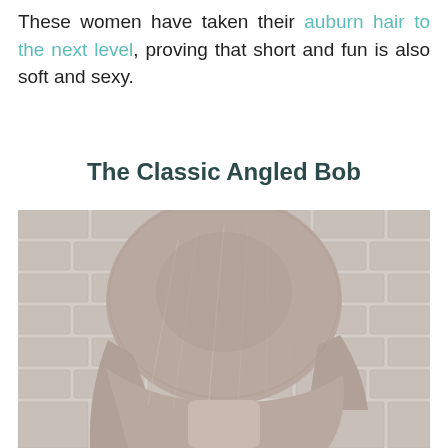These women have taken their auburn hair to the next level, proving that short and fun is also soft and sexy.
The Classic Angled Bob
[Figure (photo): Back view of a woman with a short angled bob haircut, light auburn/mauve-toned hair, standing against a white brick wall background.]